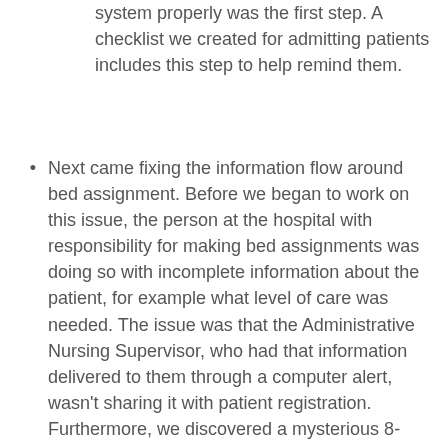system properly was the first step. A checklist we created for admitting patients includes this step to help remind them.
Next came fixing the information flow around bed assignment. Before we began to work on this issue, the person at the hospital with responsibility for making bed assignments was doing so with incomplete information about the patient, for example what level of care was needed. The issue was that the Administrative Nursing Supervisor, who had that information delivered to them through a computer alert, wasn't sharing it with patient registration. Furthermore, we discovered a mysterious 8-minute delay from the time the admission request was sent from the ER to the time it showed up as an alert in the hospital. We worked with the hospital's IT department to fix both these issues, the latter of which required the